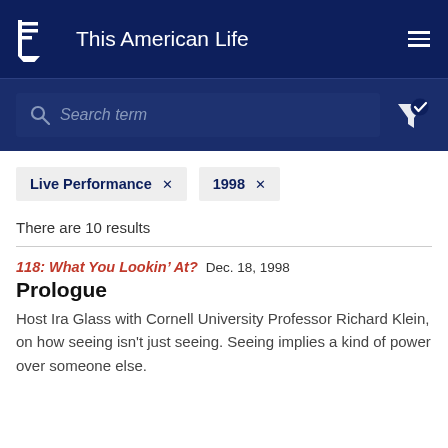This American Life
[Figure (screenshot): Search bar with placeholder text 'Search term' and filter icon with checkmark]
Live Performance ×
1998 ×
There are 10 results
118: What You Lookin' At?  Dec. 18, 1998
Prologue
Host Ira Glass with Cornell University Professor Richard Klein, on how seeing isn't just seeing. Seeing implies a kind of power over someone else.